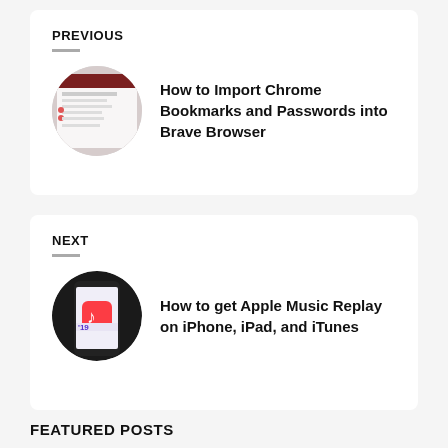PREVIOUS
[Figure (photo): Circular thumbnail of a browser/bookmarks screenshot]
How to Import Chrome Bookmarks and Passwords into Brave Browser
NEXT
[Figure (photo): Circular thumbnail of an iPhone with Apple Music app]
How to get Apple Music Replay on iPhone, iPad, and iTunes
FEATURED POSTS